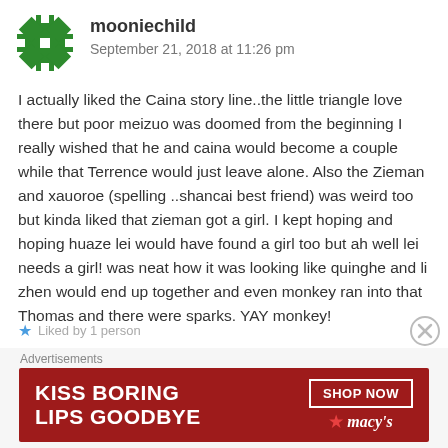[Figure (illustration): Green snowflake/geometric pattern avatar icon]
mooniechild
September 21, 2018 at 11:26 pm
I actually liked the Caina story line..the little triangle love there but poor meizuo was doomed from the beginning I really wished that he and caina would become a couple while that Terrence would just leave alone. Also the Zieman and xauoroe (spelling ..shancai best friend) was weird too but kinda liked that zieman got a girl. I kept hoping and hoping huaze lei would have found a girl too but ah well lei needs a girl! was neat how it was looking like quinghe and li zhen would end up together and even monkey ran into that Thomas and there were sparks. YAY monkey!
Liked by 1 person
[Figure (advertisement): Macy's banner ad: KISS BORING LIPS GOODBYE with SHOP NOW button and Macy's star logo on red background]